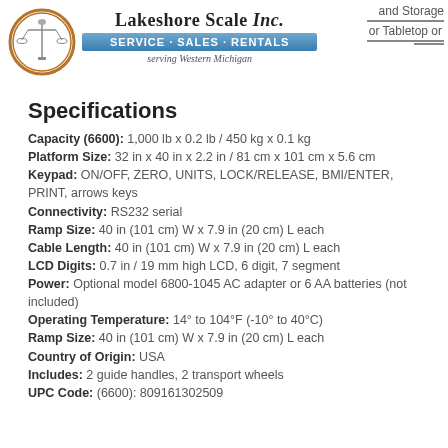Lakeshore Scale Inc. SERVICE - SALES - RENTALS serving Western Michigan
Specifications
Capacity (6600): 1,000 lb x 0.2 lb / 450 kg x 0.1 kg
Platform Size: 32 in x 40 in x 2.2 in / 81 cm x 101 cm x 5.6 cm
Keypad: ON/OFF, ZERO, UNITS, LOCK/RELEASE, BMI/ENTER, PRINT, arrows keys
Connectivity: RS232 serial
Ramp Size: 40 in (101 cm) W x 7.9 in (20 cm) L each
Cable Length: 40 in (101 cm) W x 7.9 in (20 cm) L each
LCD Digits: 0.7 in / 19 mm high LCD, 6 digit, 7 segment
Power: Optional model 6800-1045 AC adapter or 6 AA batteries (not included)
Operating Temperature: 14° to 104°F (-10° to 40°C)
Ramp Size: 40 in (101 cm) W x 7.9 in (20 cm) L each
Country of Origin: USA
Includes: 2 guide handles, 2 transport wheels
UPC Code: (6600): 809161302509